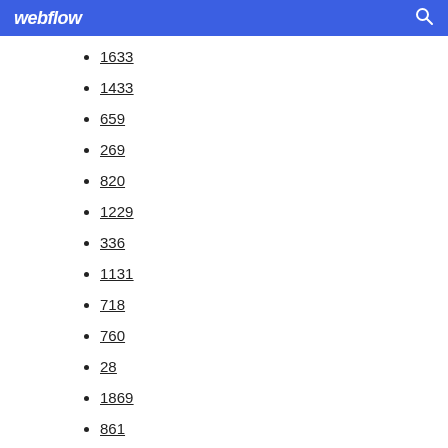webflow
1633
1433
659
269
820
1229
336
1131
718
760
28
1869
861